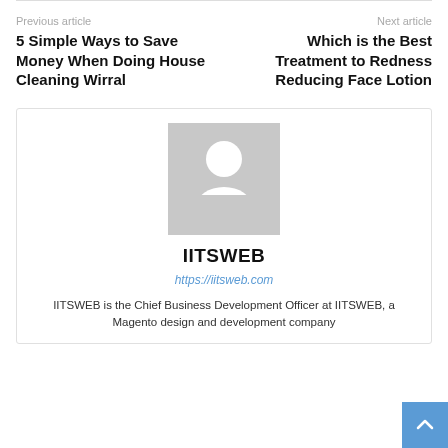Previous article | Next article
5 Simple Ways to Save Money When Doing House Cleaning Wirral
Which is the Best Treatment to Redness Reducing Face Lotion
[Figure (illustration): Generic user avatar placeholder: grey square with white silhouette of a person (head circle and body shape)]
IITSWEB
https://iitsweb.com
IITSWEB is the Chief Business Development Officer at IITSWEB, a Magento design and development company